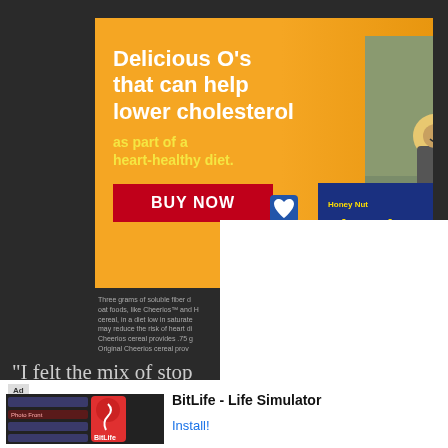[Figure (photo): Cheerios advertisement showing orange background with text 'Delicious O's that can help lower cholesterol as part of a heart-healthy diet.' with a BUY NOW button, a photo of a father teaching a child to ride a bike, and a Honey Nut Cheerios box]
Three grams of soluble fiber daily from oat foods, like Cheerios™ and Honey Nut Cheerios™ cereal, in a diet low in saturated fat and cholesterol, may reduce the risk of heart disease. Honey Nut Cheerios cereal provides .75g per serving. Original Cheerios cereal prov...
"I felt the mix of stop ... of found imagery and the band would help compliment the tracks, lyrics, and themes as I interpreted them," said
[Figure (screenshot): BitLife - Life Simulator app advertisement banner at bottom with red background, app icon, and Install button]